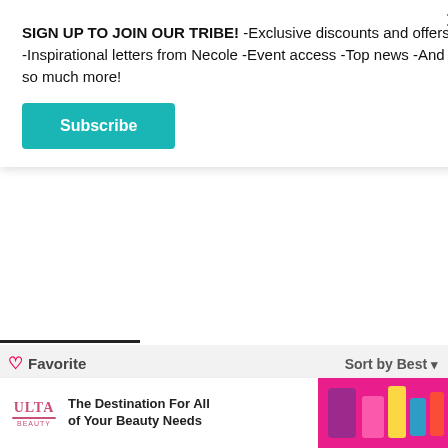SIGN UP TO JOIN OUR TRIBE! -Exclusive discounts and offers -Inspirational letters from Necole -Event access -Top news -And so much more!
Subscribe
Favorite
Sort by Best
Start the discussion…
LOG IN WITH
OR SIGN UP WITH DISQUS
Name
[Figure (screenshot): Ulta Beauty advertisement banner at bottom: logo with text 'The Destination For All of Your Beauty Needs' and product image on right]